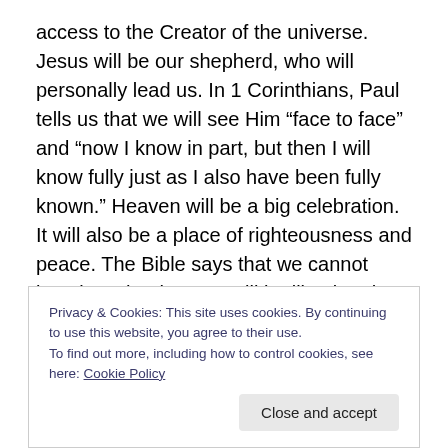access to the Creator of the universe. Jesus will be our shepherd, who will personally lead us. In 1 Corinthians, Paul tells us that we will see Him “face to face” and “now I know in part, but then I will know fully just as I also have been fully known.” Heaven will be a big celebration. It will also be a place of righteousness and peace. The Bible says that we cannot imagine what heaven will be like, but that it will exceed our expectations.
There we will experience the wonder of having a new and glorious body, alive with God’s energy and an eternal,
Privacy & Cookies: This site uses cookies. By continuing to use this website, you agree to their use.
To find out more, including how to control cookies, see here: Cookie Policy